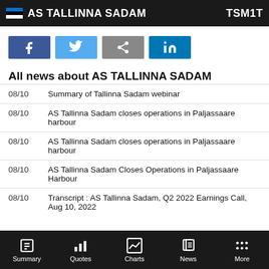AS TALLINNA SADAM   TSM1T
[Figure (other): Social sharing buttons: Facebook, Twitter, Share, LinkedIn]
All news about AS TALLINNA SADAM
| Date | Headline |
| --- | --- |
| 08/10 | Summary of Tallinna Sadam webinar |
| 08/10 | AS Tallinna Sadam closes operations in Paljassaare harbour |
| 08/10 | AS Tallinna Sadam closes operations in Paljassaare harbour |
| 08/10 | AS Tallinna Sadam Closes Operations in Paljassaare Harbour |
| 08/10 | Transcript : AS Tallinna Sadam, Q2 2022 Earnings Call, Aug 10, 2022 |
Summary   Quotes   Charts   News   More